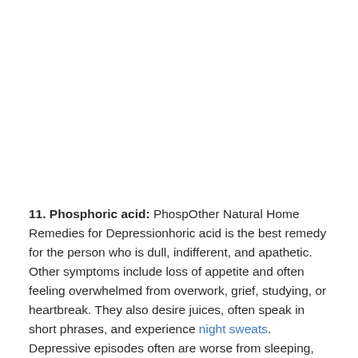11. Phosphoric acid: PhospOther Natural Home Remedies for Depressionhoric acid is the best remedy for the person who is dull, indifferent, and apathetic. Other symptoms include loss of appetite and often feeling overwhelmed from overwork, grief, studying, or heartbreak. They also desire juices, often speak in short phrases, and experience night sweats. Depressive episodes often are worse from sleeping,